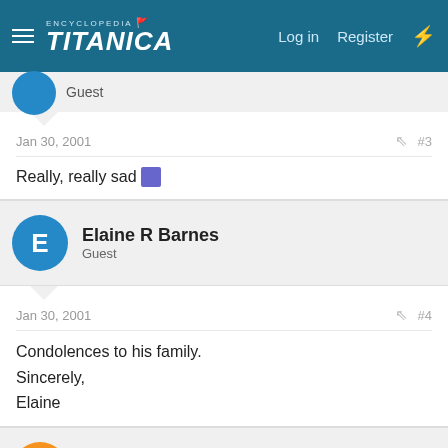Encyclopedia Titanica — Log in  Register
Guest
Jan 30, 2001  #3
Really, really sad 😢
Elaine R Barnes
Guest
Jan 30, 2001  #4
Condolences to his family.
Sincerely,
Elaine
Jordan Miner
Member